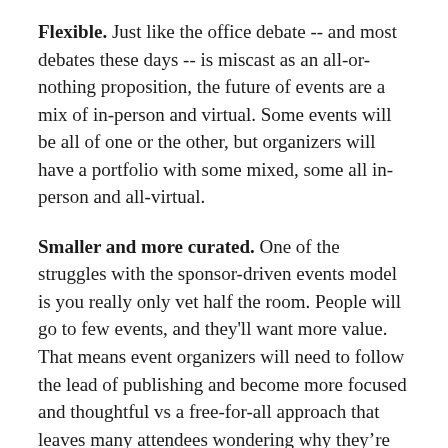Flexible. Just like the office debate -- and most debates these days -- is miscast as an all-or-nothing proposition, the future of events are a mix of in-person and virtual. Some events will be all of one or the other, but organizers will have a portfolio with some mixed, some all in-person and all-virtual.
Smaller and more curated. One of the struggles with the sponsor-driven events model is you really only vet half the room. People will go to few events, and they'll want more value. That means event organizers will need to follow the lead of publishing and become more focused and thoughtful vs a free-for-all approach that leaves many attendees wondering why they're there.